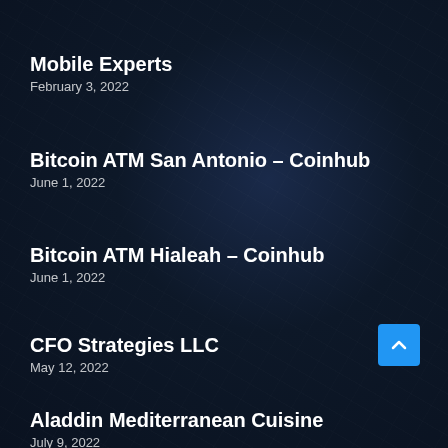Mobile Experts
February 3, 2022
Bitcoin ATM San Antonio – Coinhub
June 1, 2022
Bitcoin ATM Hialeah – Coinhub
June 1, 2022
CFO Strategies LLC
May 12, 2022
Aladdin Mediterranean Cuisine
July 9, 2022